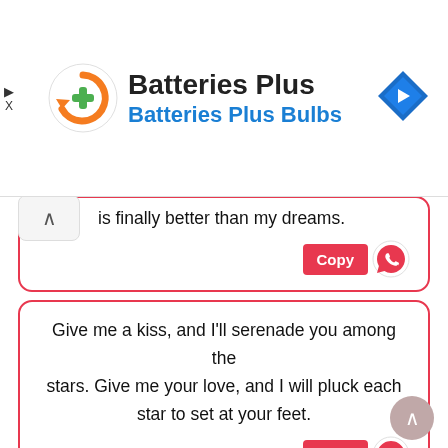[Figure (screenshot): Batteries Plus advertisement banner with logo (orange circular arrow with green plus), brand name 'Batteries Plus' in black bold text, subtitle 'Batteries Plus Bulbs' in blue bold text, and a blue diamond navigation icon on the right. Left side shows a small play/close icon.]
is finally better than my dreams.
Give me a kiss, and I'll serenade you among the stars. Give me your love, and I will pluck each star to set at your feet.
There's only 1 thing 2 do 3 words 4 you – I Love You.